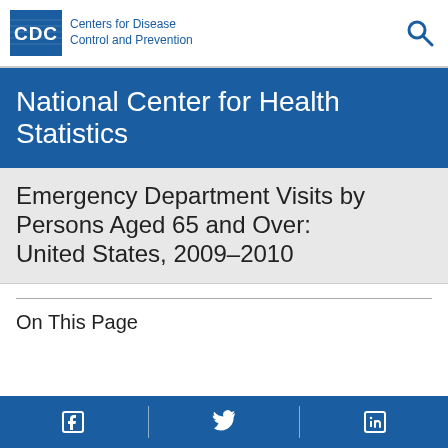CDC Centers for Disease Control and Prevention
National Center for Health Statistics
Emergency Department Visits by Persons Aged 65 and Over: United States, 2009–2010
On This Page
Facebook Twitter LinkedIn